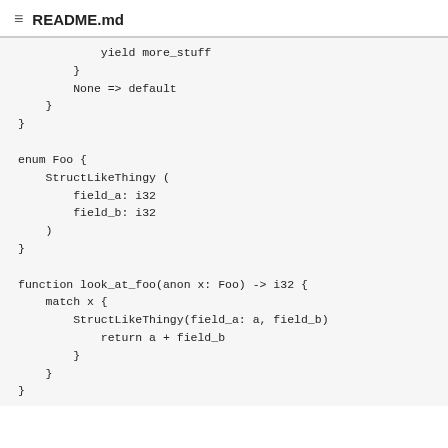README.md
yield more_stuff
        }
        None => default
    }
}

enum Foo {
    StructLikeThingy (
        field_a: i32
        field_b: i32
    )
}

function look_at_foo(anon x: Foo) -> i32 {
    match x {
        StructLikeThingy(field_a: a, field_b)
            return a + field_b
        }
    }
}